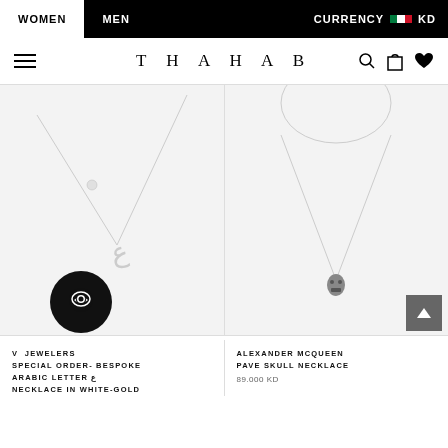WOMEN | MEN | CURRENCY KD
THAHAB
[Figure (photo): Silver necklace with Arabic letter pendant on light gray background]
[Figure (photo): Gold chain necklace with pave skull pendant on light gray background]
V JEWELERS SPECIAL ORDER- BESPOKE ARABIC LETTER ع NECKLACE IN WHITE-GOLD
ALEXANDER MCQUEEN PAVE SKULL NECKLACE 89.000 KD